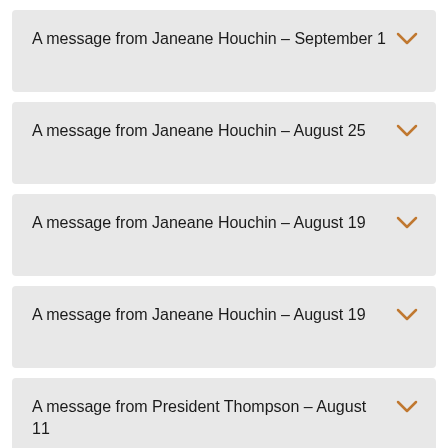A message from Janeane Houchin – September 1
A message from Janeane Houchin – August 25
A message from Janeane Houchin – August 19
A message from Janeane Houchin – August 19
A message from President Thompson – August 11